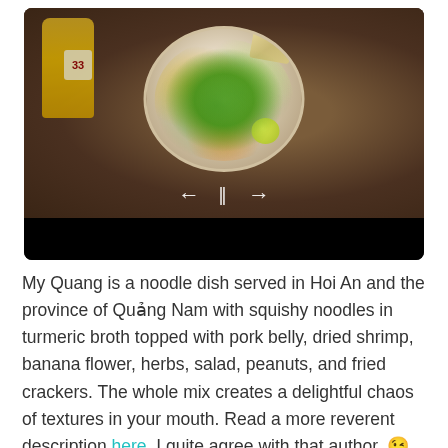[Figure (photo): A bowl of My Quang noodle dish photographed from above, showing green herbs, crackers, lemon, and toppings. A beer bottle labeled '33' is visible to the left. The image appears in a media player interface with playback controls (left arrow, pause, right arrow) and a black bar at the bottom.]
My Quang is a noodle dish served in Hoi An and the province of Quảng Nam with squishy noodles in turmeric broth topped with pork belly, dried shrimp, banana flower, herbs, salad, peanuts, and fried crackers. The whole mix creates a delightful chaos of textures in your mouth. Read a more reverent description here. I quite agree with that author. 😉